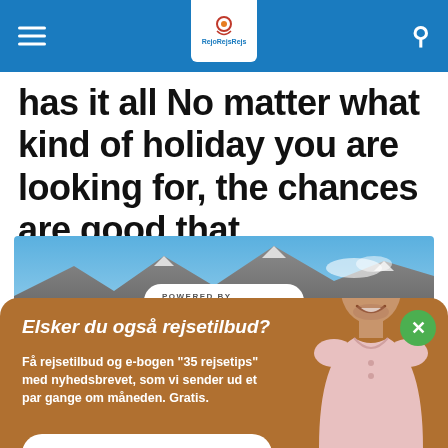RejoRejsRejs navigation bar
has it all No matter what kind of holiday you are looking for, the chances are good that...
[Figure (screenshot): Mountain landscape photo with blue sky, with a 'POWERED BY SUMO' badge overlay]
Elsker du også rejsetilbud?
Få rejsetilbud og e-bogen "35 rejsetips" med nyhedsbrevet, som vi sender ud et par gange om måneden. Gratis.
Skriv din e-mail her
Ja tak, jeg vil gerne have e-bog og nyhedsbrev